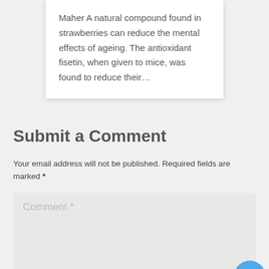Maher A natural compound found in strawberries can reduce the mental effects of ageing. The antioxidant fisetin, when given to mice, was found to reduce their…
Submit a Comment
Your email address will not be published. Required fields are marked *
Comment *